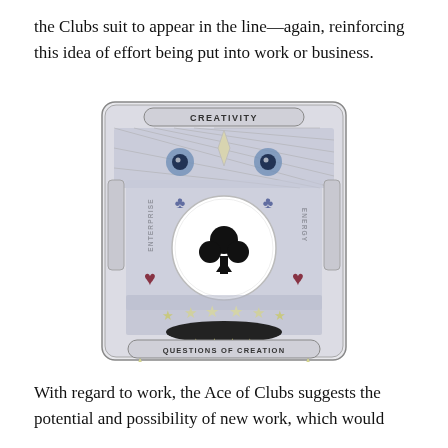the Clubs suit to appear in the line—again, reinforcing this idea of effort being put into work or business.
[Figure (illustration): Decorative playing card illustration: Ace of Clubs. The card features ornate Art Nouveau style artwork with the label 'CREATIVITY' at the top, 'ENTERPRISE' on the left side (vertical), 'ENERGY' on the right side (vertical), a large club symbol in a white circle at the center, stars along the bottom, a black oval banner, and 'QUESTIONS OF CREATION' at the bottom. The card is decorated with hearts, club symbols, eyes, and intricate geometric patterns in blue, grey, and muted colors.]
With regard to work, the Ace of Clubs suggests the potential and possibility of new work, which would